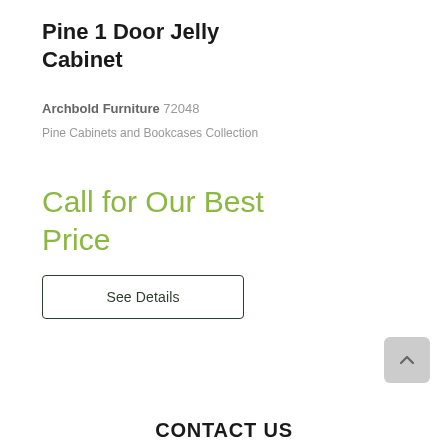Pine 1 Door Jelly Cabinet
Archbold Furniture 72048
Pine Cabinets and Bookcases Collection
Call for Our Best Price
See Details
CONTACT US